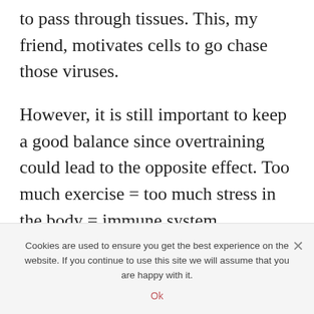to pass through tissues. This, my friend, motivates cells to go chase those viruses.
However, it is still important to keep a good balance since overtraining could lead to the opposite effect. Too much exercise = too much stress in the body = immune system weakening.
According to a study (9), the optimal time would be from 30 to 60 minutes of
Cookies are used to ensure you get the best experience on the website. If you continue to use this site we will assume that you are happy with it.
Ok